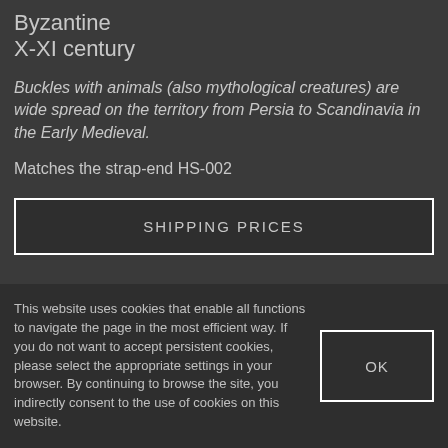Byzantine
X-XI century
Buckles with animals (also mythological creatures) are wide spread on the territory from Persia to Scandinavia in the Early Medieval.
Matches the strap-end HS-002
SHIPPING PRICES
This website uses cookies that enable all functions to navigate the page in the most efficient way. If you do not want to accept persistent cookies, please select the appropriate settings in your browser. By continuing to browse the site, you indirectly consent to the use of cookies on this website.
OK